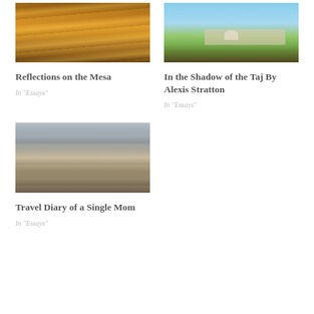[Figure (photo): Sunset sky with dramatic orange and golden clouds over a mesa landscape]
Reflections on the Mesa
In "Essays"
[Figure (photo): Taj Mahal viewed from across a green field with blue sky, animals grazing in foreground]
In the Shadow of the Taj By Alexis Stratton
In "Essays"
[Figure (photo): Desert mountain range with layered terrain, muted browns and grays, wide landscape view]
Travel Diary of a Single Mom
In "Essays"